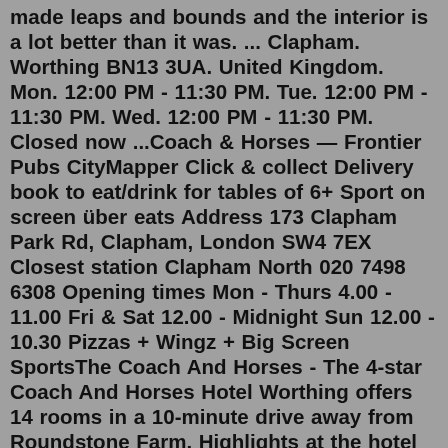made leaps and bounds and the interior is a lot better than it was. ... Clapham. Worthing BN13 3UA. United Kingdom. Mon. 12:00 PM - 11:30 PM. Tue. 12:00 PM - 11:30 PM. Wed. 12:00 PM - 11:30 PM. Closed now ...Coach & Horses — Frontier Pubs CityMapper Click & collect Delivery book to eat/drink for tables of 6+ Sport on screen über eats Address 173 Clapham Park Rd, Clapham, London SW4 7EX Closest station Clapham North 020 7498 6308 Opening times Mon - Thurs 4.00 - 11.00 Fri & Sat 12.00 - Midnight Sun 12.00 - 10.30 Pizzas + Wingz + Big Screen SportsThe Coach And Horses - The 4-star Coach And Horses Hotel Worthing offers 14 rooms in a 10-minute drive away from Roundstone Farm. Highlights at the hotel include an a la carte restaurant, a garden bar and Wi Fi throughout the property. A horse walked about 18 miles each period. Until the 1850s drivers were normally paid 3s 6d (three shillings and six pence) per day or night but later hired the cab from the owner. Cab-yards, the stables where ostlers took care of the horses and cab-washers cleaned the vehicles, were